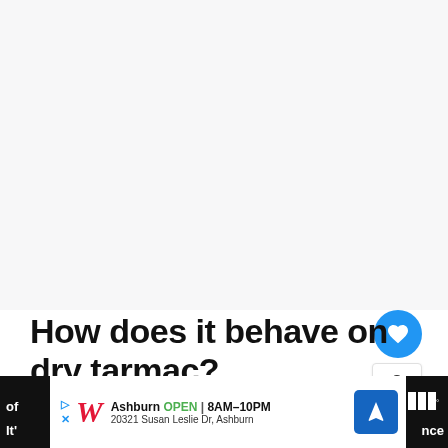[Figure (screenshot): Large blank/white-gray area representing a video or image placeholder at top of article page]
How does it behave on dry tarmac?
Right off the bat, the TrueContact Tour starts
[Figure (screenshot): Bottom advertisement bar showing Walgreens ad with store location in Ashburn, OPEN 8AM-10PM, 20321 Susan Leslie Dr, Ashburn, with navigation icon; overlaid on dark background with partial article text visible]